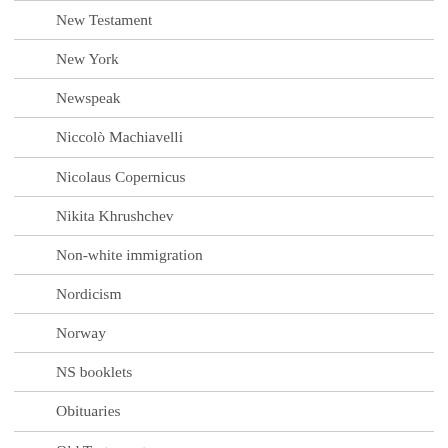New Testament
New York
Newspeak
Niccolò Machiavelli
Nicolaus Copernicus
Nikita Khrushchev
Non-white immigration
Nordicism
Norway
NS booklets
Obituaries
Old Testament